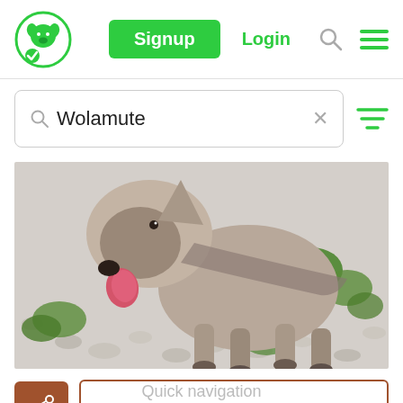[Figure (screenshot): Website navigation bar with green dog logo, Signup button, Login link, search icon, and hamburger menu]
Wolamute
[Figure (photo): Photo of a Wolamute dog (wolf-like hybrid breed) standing on rocky/gravelly ground with green foliage, tongue out]
QUICK BREED SELECTOR
Quick navigation